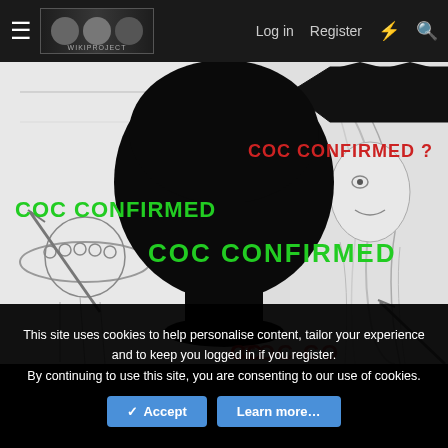≡  [site logo]  Log in  Register  ⚡  🔍
[Figure (illustration): Manga/anime style illustration showing silhouetted figure in center with text overlays: 'COC CONFIRMED' in green on left side, 'COC CONFIRMED ?' in red on upper right, 'COC CONFIRMED' in green in center of silhouette. Background shows manga characters including a character with a large hat on the left and a long-haired female character on the right.]
This site uses cookies to help personalise content, tailor your experience and to keep you logged in if you register.
By continuing to use this site, you are consenting to our use of cookies.
✓ Accept    Learn more…